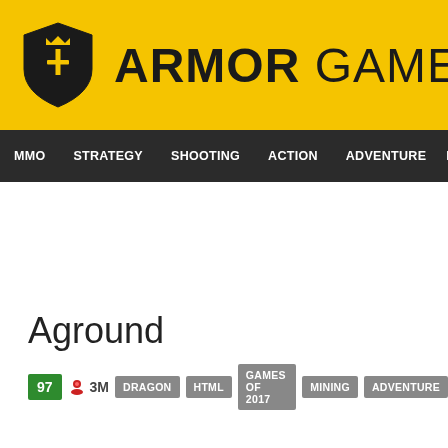ARMOR GAMES
MMO  STRATEGY  SHOOTING  ACTION  ADVENTURE  P
Aground
97  3M  DRAGON  HTML  GAMES OF 2017  MINING  ADVENTURE